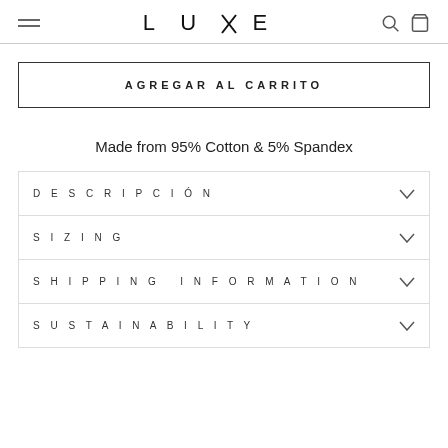LURE
AGREGAR AL CARRITO
Made from 95% Cotton & 5% Spandex
DESCRIPCIÓN
SIZING
SHIPPING INFORMATION
SUSTAINABILITY